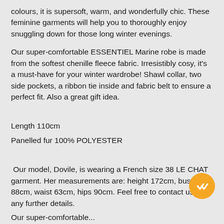colours, it is supersoft, warm, and wonderfully chic. These feminine garments will help you to thoroughly enjoy snuggling down for those long winter evenings.
Our super-comfortable ESSENTIEL Marine robe is made from the softest chenille fleece fabric. Irresistibly cosy, it's a must-have for your winter wardrobe! Shawl collar, two side pockets, a ribbon tie inside and fabric belt to ensure a perfect fit. Also a great gift idea.
Length 110cm
Panelled fur 100% POLYESTER
Our model, Dovile, is wearing a French size 38 LE CHAT garment. Her measurements are: height 172cm, bust 88cm, waist 63cm, hips 90cm. Feel free to contact us for any further details.